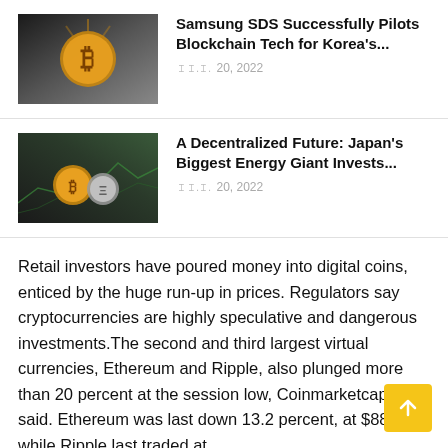[Figure (photo): Bitcoin coin image with golden color against dark background]
Samsung SDS Successfully Pilots Blockchain Tech for Korea's...
ꀤꀤ.ꀤ. 20, 2022
[Figure (photo): Cryptocurrency coins on a dark surface with chart lines visible]
A Decentralized Future: Japan's Biggest Energy Giant Invests...
ꀤꀤ.ꀤ. 20, 2022
Retail investors have poured money into digital coins, enticed by the huge run-up in prices. Regulators say cryptocurrencies are highly speculative and dangerous investments.The second and third largest virtual currencies, Ethereum and Ripple, also plunged more than 20 percent at the session low, Coinmarketcap.com said. Ethereum was last down 13.2 percent, at $888.22, while Ripple last traded at